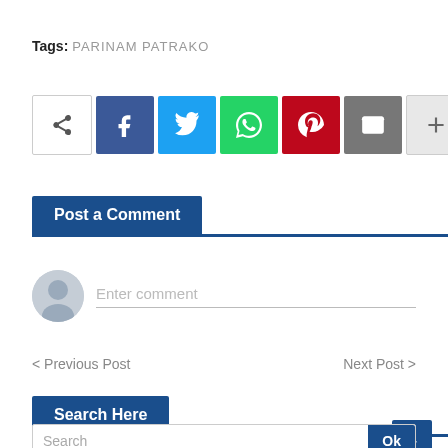Tags: PARINAM PATRAKO
[Figure (infographic): Social share button bar with icons: share, Facebook, Twitter, WhatsApp, Pinterest, Email, plus]
Post a Comment
[Figure (infographic): Comment input area with avatar and 'Enter comment' placeholder text]
< Previous Post    Next Post >
Search Here
Search    Ok